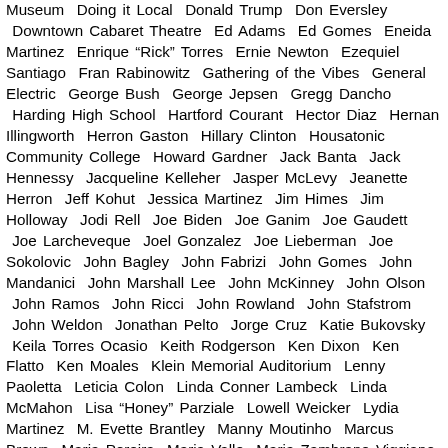Museum  Doing it Local  Donald Trump  Don Eversley  Downtown Cabaret Theatre  Ed Adams  Ed Gomes  Eneida Martinez  Enrique "Rick" Torres  Ernie Newton  Ezequiel Santiago  Fran Rabinowitz  Gathering of the Vibes  General Electric  George Bush  George Jepsen  Gregg Dancho  Harding High School  Hartford Courant  Hector Diaz  Hernan Illingworth  Herron Gaston  Hillary Clinton  Housatonic Community College  Howard Gardner  Jack Banta  Jack Hennessy  Jacqueline Kelleher  Jasper McLevy  Jeanette Herron  Jeff Kohut  Jessica Martinez  Jim Himes  Jim Holloway  Jodi Rell  Joe Biden  Joe Ganim  Joe Gaudett  Joe Larcheveque  Joel Gonzalez  Joe Lieberman  Joe Sokolovic  John Bagley  John Fabrizi  John Gomes  John Mandanici  John Marshall Lee  John McKinney  John Olson  John Ramos  John Ricci  John Rowland  John Stafstrom  John Weldon  Jonathan Pelto  Jorge Cruz  Katie Bukovsky  Keila Torres Ocasio  Keith Rodgerson  Ken Dixon  Ken Flatto  Ken Moales  Klein Memorial Auditorium  Lenny Paoletta  Leticia Colon  Linda Conner Lambeck  Linda McMahon  Lisa "Honey" Parziale  Lowell Weicker  Lydia Martinez  M. Evette Brantley  Manny Moutinho  Marcus Brown  Maria Pereira  Maria Valle  Maria Zambrano Viggiano  Marilyn Moore  Mario Testa  Mark Anastasi  Mark Boughton  Mark Lauretti  Mark Pazniokas  Mary-Jane Foster  Mary Moran  Max Medina  Michael DeFilippo  Michelle Lyons  Milta Feliciano  Mitch Robles  Morgan Kaolian  Nancy DiNardo  Nancy Wyman  Ned